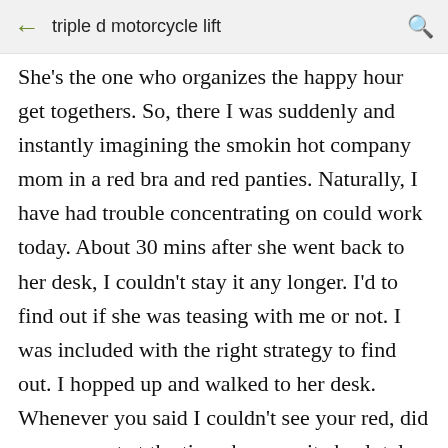← triple d motorcycle lift 🔍
She's the one who organizes the happy hour get togethers. So, there I was suddenly and instantly imagining the smokin hot company mom in a red bra and red panties. Naturally, I have had trouble concentrating on could work today. About 30 mins after she went back to her desk, I couldn't stay it any longer. I'd to find out if she was teasing with me or not. I was included with the right strategy to find out. I hopped up and walked to her desk. Whenever you said I couldn't see your red, did you suggest at the time, because it absolutely was included up, causing the likelihood Free Live Web Cams Girls that I will have the